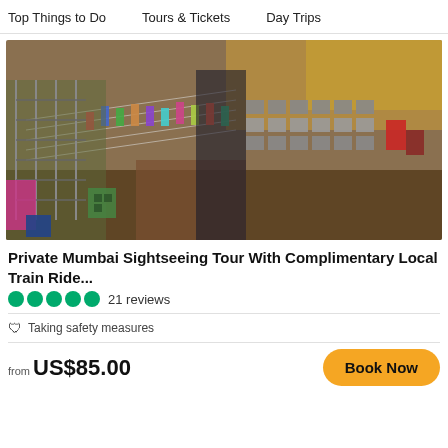Top Things to Do   Tours & Tickets   Day Trips
[Figure (photo): Aerial view of Dharavi open-air laundry (dhobi ghat) in Mumbai, showing rows of washing vats, colorful clothes hanging on lines, and surrounding urban shanty structures]
Private Mumbai Sightseeing Tour With Complimentary Local Train Ride...
21 reviews
Taking safety measures
from US$85.00
Book Now